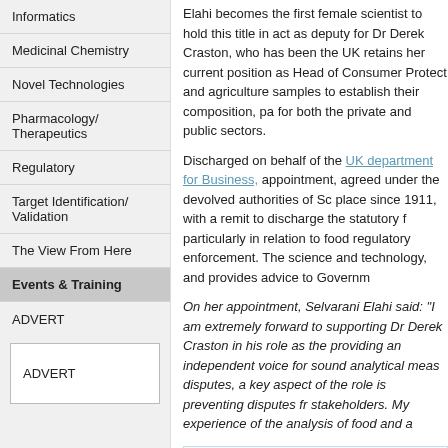Informatics
Medicinal Chemistry
Novel Technologies
Pharmacology/ Therapeutics
Regulatory
Target Identification/ Validation
The View From Here
Events & Training
ADVERT
ADVERT
Elahi becomes the first female scientist to hold this title in act as deputy for Dr Derek Craston, who has been the UK retains her current position as Head of Consumer Protect and agriculture samples to establish their composition, pa for both the private and public sectors.
Discharged on behalf of the UK department for Business, appointment, agreed under the devolved authorities of Sc place since 1911, with a remit to discharge the statutory f particularly in relation to food regulatory enforcement. The science and technology, and provides advice to Governm
On her appointment, Selvarani Elahi said: "I am extremely forward to supporting Dr Derek Craston in his role as the providing an independent voice for sound analytical meas disputes, a key aspect of the role is preventing disputes fr stakeholders. My experience of the analysis of food and a
Share this article
More service
This article is featured in:
Companies and People